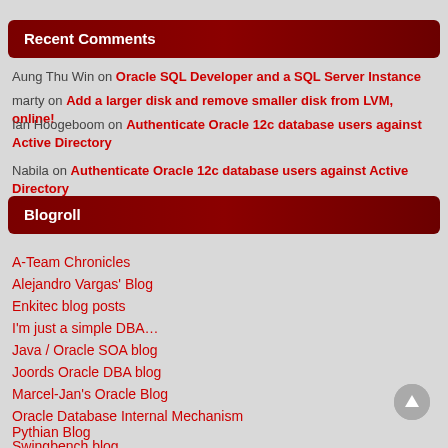Recent Comments
Aung Thu Win on Oracle SQL Developer and a SQL Server Instance
marty on Add a larger disk and remove smaller disk from LVM, online!
Ian Hoogeboom on Authenticate Oracle 12c database users against Active Directory
Nabila on Authenticate Oracle 12c database users against Active Directory
Blogroll
A-Team Chronicles
Alejandro Vargas' Blog
Enkitec blog posts
I'm just a simple DBA…
Java / Oracle SOA blog
Joords Oracle DBA blog
Marcel-Jan's Oracle Blog
Oracle Database Internal Mechanism
Pythian Blog
Swingbench blog
Transfer-Solutions blog